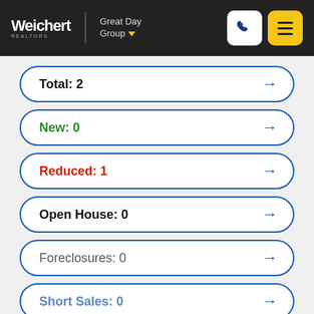Weichert REALTORS | Great Day Group
Total: 2
New: 0
Reduced: 1
Open House: 0
Foreclosures: 0
Short Sales: 0